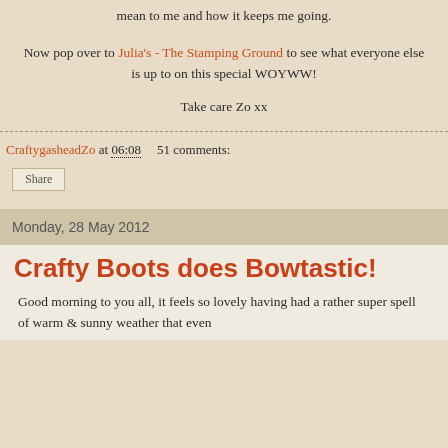mean to me and how it keeps me going.
Now pop over to Julia's - The Stamping Ground to see what everyone else is up to on this special WOYWW!
Take care Zo xx
CraftygasheadZo at 06:08   51 comments:
Share
Monday, 28 May 2012
Crafty Boots does Bowtastic!
Good morning to you all, it feels so lovely having had a rather super spell of warm & sunny weather that even